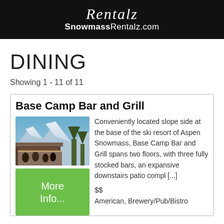Rentalz SnowmassRentalz.com
DINING
Showing 1 - 11 of 11
Base Camp Bar and Grill
[Figure (photo): Outdoor patio of Base Camp Bar and Grill with mountain views at Aspen Snowmass ski resort]
Conveniently located slope side at the base of the ski resort of Aspen Snowmass, Base Camp Bar and Grill spans two floors, with three fully stocked bars, an expansive downstairs patio compl [...]
$$
American, Brewery/Pub/Bistro
More Info...